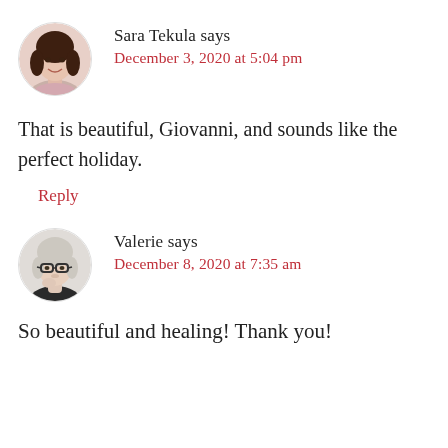Sara Tekula says
December 3, 2020 at 5:04 pm
That is beautiful, Giovanni, and sounds like the perfect holiday.
Reply
Valerie says
December 8, 2020 at 7:35 am
So beautiful and healing! Thank you!